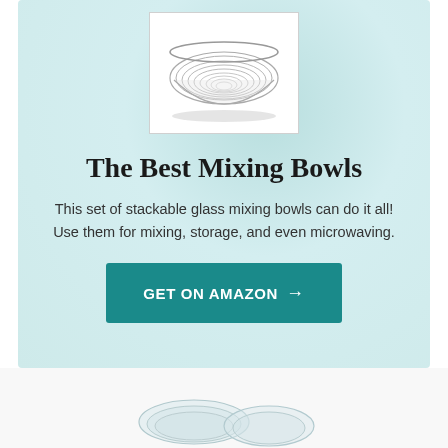[Figure (photo): Set of stackable glass mixing bowls nested together, viewed from above at a slight angle, showing concentric circular rims]
The Best Mixing Bowls
This set of stackable glass mixing bowls can do it all! Use them for mixing, storage, and even microwaving.
GET ON AMAZON →
[Figure (photo): Partial view of glass bowls at the bottom of the page]